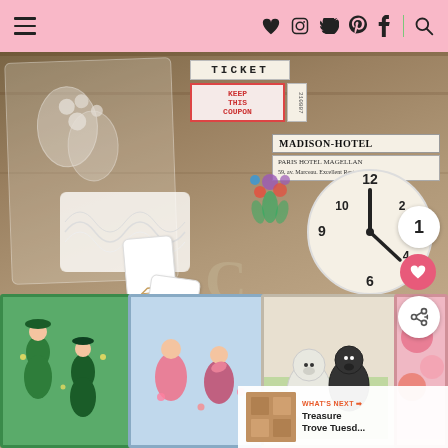Navigation header with menu icon, social icons (heart, instagram, twitter, pinterest, facebook, search)
[Figure (photo): Flat lay of vintage ephemera and junk journal supplies including tickets reading TICKET and KEEP THIS COUPON, hotel labels reading MADISON-HOTEL and PARIS HOTEL MAGELLAN, a clock face, lace, tags, vintage greeting cards with illustrated women in green dresses and dogs (white westie and scottish terrier), and floral pink accents on a wooden background]
1
WHAT'S NEXT → Treasure Trove Tuesd...